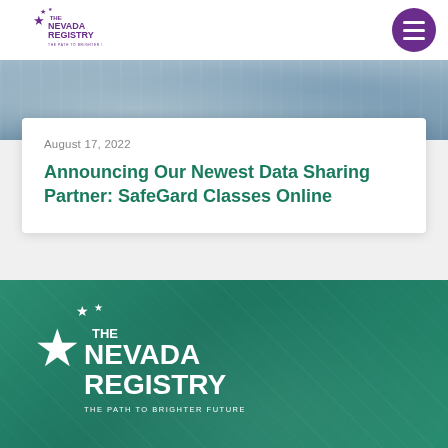[Figure (logo): The Nevada Registry logo with star and text, purple color, 'The Path to Brighter Futures' tagline]
[Figure (photo): Partial photo strip showing children or people, cropped at top of card section]
August 17, 2022
Announcing Our Newest Data Sharing Partner: SafeGard Classes Online
[Figure (logo): The Nevada Registry white logo on teal/green background with 'The Path to Brighter Futures' tagline in footer]